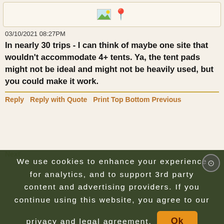[Figure (illustration): Icon bar with landscape/photo icon and map pin icon]
03/10/2021 08:27PM
In nearly 30 trips - I can think of maybe one site that wouldn't accommodate 4+ tents. Ya, the tent pads might not be ideal and might not be heavily used, but you could make it work.
Reply   Reply with Quote   Print Top Bottom Previous
Next
We use cookies to enhance your experience for analytics, and to support 3rd party content and advertising providers. If you continue using this website, you agree to our privacy and legal agreement.   Ok